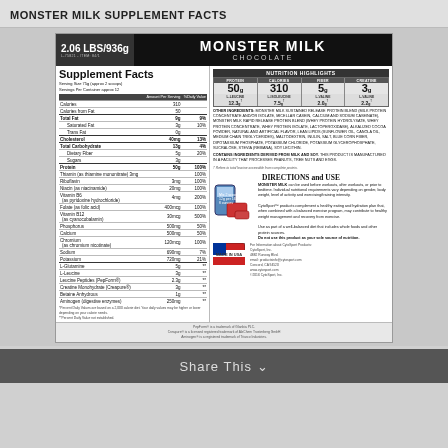MONSTER MILK SUPPLEMENT FACTS
[Figure (infographic): Monster Milk Chocolate supplement facts label showing 2.06 LBS/936g package size, nutrition highlights (Protein 50g, Calories 310, Fiber 5g, Creatine 3g, L-Leucine 12.3g, L-Isoleucine 7.5g, L-Valine 2.0g, 2.2g), full supplement facts table, other ingredients, directions and use section with product image, and Made in USA badge with company contact info.]
Share This